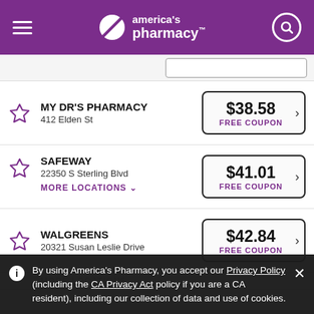[Figure (screenshot): America's Pharmacy website header with hamburger menu, logo, and search icon on purple background]
MY DR'S PHARMACY
412 Elden St
$38.58 FREE COUPON
SAFEWAY
22350 S Sterling Blvd
MORE LOCATIONS
$41.01 FREE COUPON
WALGREENS
20321 Susan Leslie Drive
$42.84 FREE COUPON
By using America's Pharmacy, you accept our Privacy Policy (including the CA Privacy Act policy if you are a CA resident), including our collection of data and use of cookies.